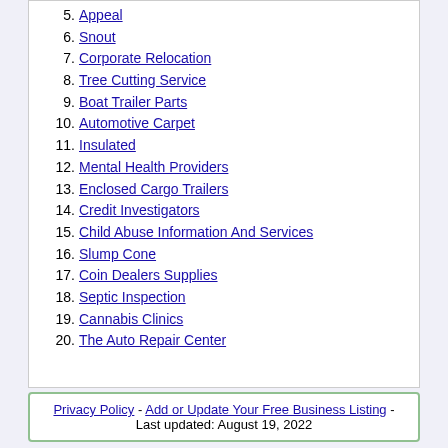5. Appeal
6. Snout
7. Corporate Relocation
8. Tree Cutting Service
9. Boat Trailer Parts
10. Automotive Carpet
11. Insulated
12. Mental Health Providers
13. Enclosed Cargo Trailers
14. Credit Investigators
15. Child Abuse Information And Services
16. Slump Cone
17. Coin Dealers Supplies
18. Septic Inspection
19. Cannabis Clinics
20. The Auto Repair Center
Privacy Policy - Add or Update Your Free Business Listing - Last updated: August 19, 2022